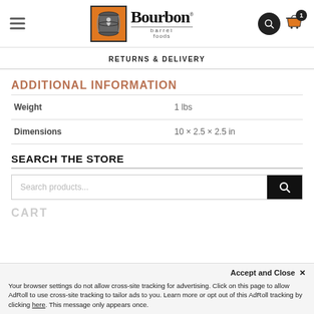Bourbon Barrel Foods
RETURNS & DELIVERY
ADDITIONAL INFORMATION
|  |  |
| --- | --- |
| Weight | 1 lbs |
| Dimensions | 10 × 2.5 × 2.5 in |
SEARCH THE STORE
Search products...
CART
Accept and Close ✕
Your browser settings do not allow cross-site tracking for advertising. Click on this page to allow AdRoll to use cross-site tracking to tailor ads to you. Learn more or opt out of this AdRoll tracking by clicking here. This message only appears once.